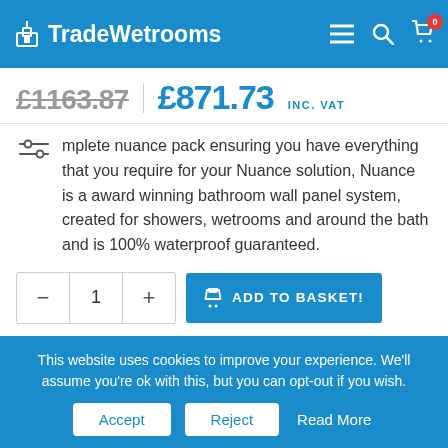TradeWetrooms — navigation bar with logo, menu, search, and cart (0 items)
£1163.87  £871.73 INC. VAT
mplete nuance pack ensuring you have everything that you require for your Nuance solution, Nuance is a award winning bathroom wall panel system, created for showers, wetrooms and around the bath and is 100% waterproof guaranteed.
Quantity: 1  ADD TO BASKET!
Build your wetroom here
This website uses cookies to improve your experience. We'll assume you're ok with this, but you can opt-out if you wish.
Accept  Reject  Read More